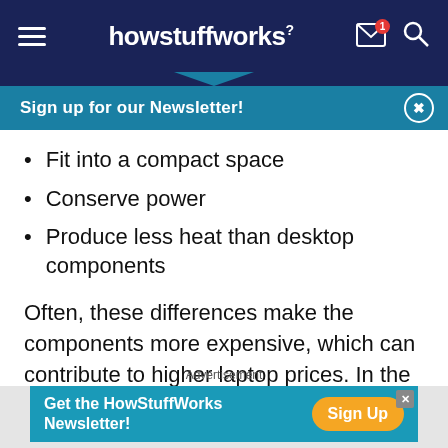howstuffworks
Sign up for our Newsletter!
Fit into a compact space
Conserve power
Produce less heat than desktop components
Often, these differences make the components more expensive, which can contribute to higher laptop prices. In the following sections, we'll examine how laptops handle these differences.
Advertisement
Get the HowStuffWorks Newsletter! Sign Up